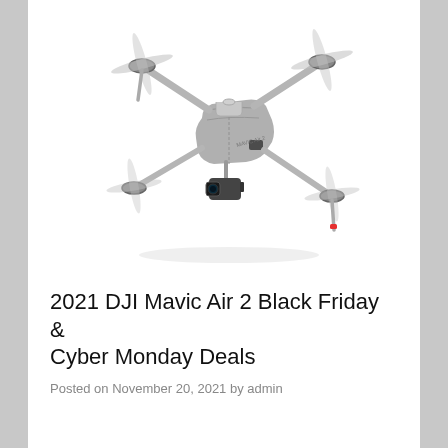[Figure (photo): DJI Mavic Air 2 drone shown from a front-right aerial perspective on a white background. The drone is light gray with four arms extended, rotors at each tip, a camera gimbal underneath, and a red indicator light on the rear right leg. The text 'MAVIC Air 2' is visible on the body.]
2021 DJI Mavic Air 2 Black Friday & Cyber Monday Deals
Posted on November 20, 2021 by admin